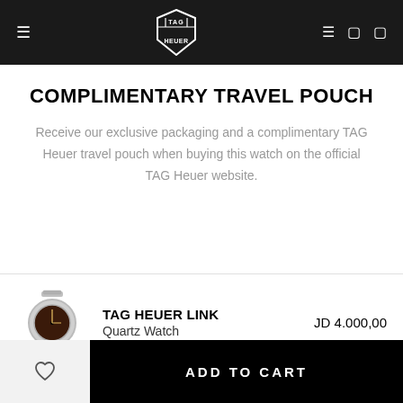TAG HEUER navigation bar with logo
COMPLIMENTARY TRAVEL POUCH
Receive our exclusive packaging and a complimentary TAG Heuer travel pouch when buying this watch on the official TAG Heuer website.
| Image | Product | Price |
| --- | --- | --- |
| [watch image] | TAG HEUER LINK Quartz Watch | JD 4.000,00 |
ADD TO CART